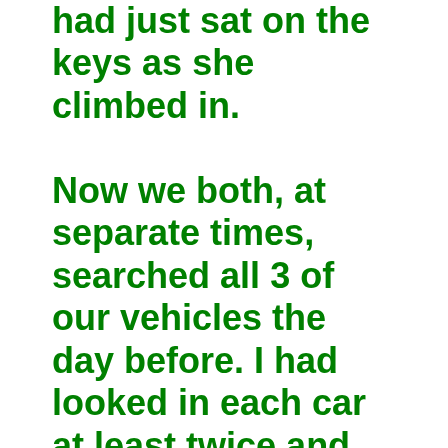had just sat on the keys as she climbed in.

Now we both, at separate times, searched all 3 of our vehicles the day before. I had looked in each car at least twice and she may have also looked a second time. Never mind that she had just been sitting in that very seat on the way to the